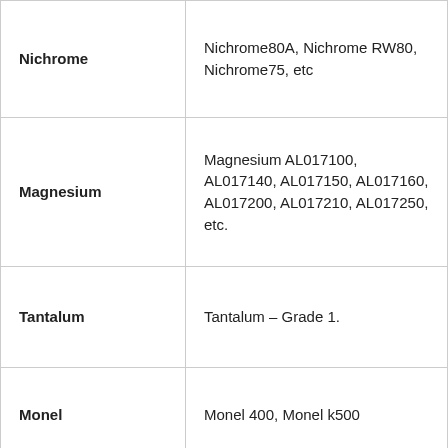| Material | Grades/Varieties |
| --- | --- |
| Nichrome | Nichrome80A, Nichrome RW80, Nichrome75, etc |
| Magnesium | Magnesium AL017100, AL017140, AL017150, AL017160, AL017200, AL017210, AL017250, etc. |
| Tantalum | Tantalum – Grade 1. |
| Monel | Monel 400, Monel k500 |
| MU-METAL | MU-METAL |
| Zirconium | Zirconium 702, Zirconium 705,Zirconium 705, Zirconium-2, Zirconium-4 |
|  |  |